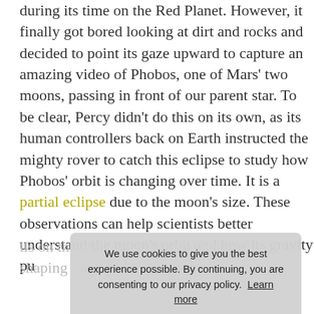during its time on the Red Planet. However, it finally got bored looking at dirt and rocks and decided to point its gaze upward to capture an amazing video of Phobos, one of Mars' two moons, passing in front of our parent star. To be clear, Percy didn't do this on its own, as its human controllers back on Earth instructed the mighty rover to catch this eclipse to study how Phobos' orbit is changing over time. It is a partial eclipse due to the moon's size. These observations can help scientists better understand the moon's orbit and how its gravity pulls on the Martian surface, ultimately shaping the Red Planet.
[Figure (screenshot): NASA's Perseverance Rover video embed with play button, partially covered by cookie consent overlay]
We use cookies to give you the best experience possible. By continuing, you are consenting to our privacy policy. Learn more
Got it!